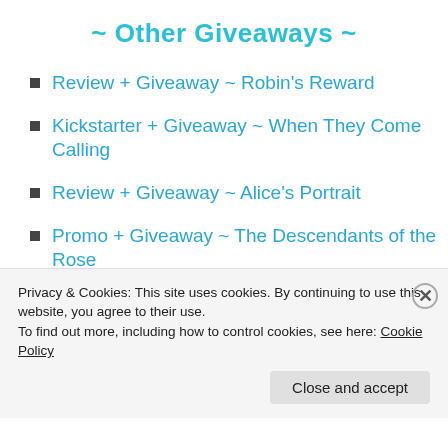~ Other Giveaways ~
Review + Giveaway ~ Robin's Reward
Kickstarter + Giveaway ~ When They Come Calling
Review + Giveaway ~ Alice's Portrait
Promo + Giveaway ~ The Descendants of the Rose
[Figure (other): Green banner advertisement reading 'The best real-time WordPress backup plugin']
Privacy & Cookies: This site uses cookies. By continuing to use this website, you agree to their use. To find out more, including how to control cookies, see here: Cookie Policy